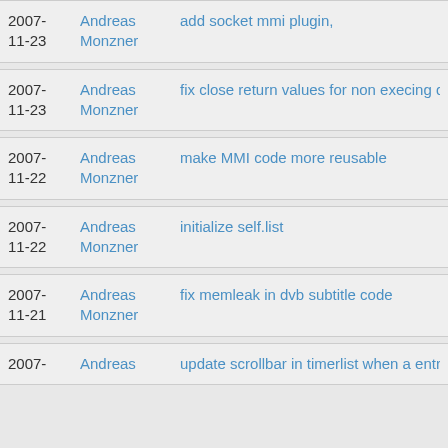2007-11-23  Andreas Monzner  add socket mmi plugin,
2007-11-23  Andreas Monzner  fix close return values for non execing dialogs
2007-11-22  Andreas Monzner  make MMI code more reusable
2007-11-22  Andreas Monzner  initialize self.list
2007-11-21  Andreas Monzner  fix memleak in dvb subtitle code
2007-  Andreas Monzner  update scrollbar in timerlist when a entry is re